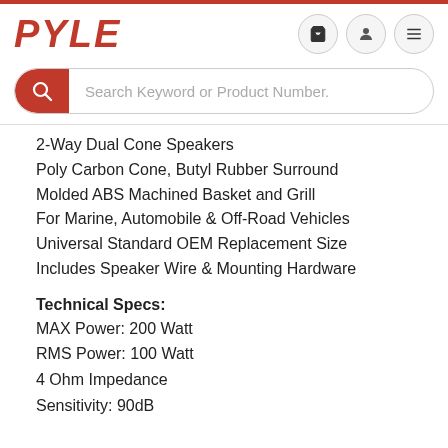PYLE
2-Way Dual Cone Speakers
Poly Carbon Cone, Butyl Rubber Surround
Molded ABS Machined Basket and Grill
For Marine, Automobile & Off-Road Vehicles
Universal Standard OEM Replacement Size
Includes Speaker Wire & Mounting Hardware
Technical Specs:
MAX Power: 200 Watt
RMS Power: 100 Watt
4 Ohm Impedance
Sensitivity: 90dB